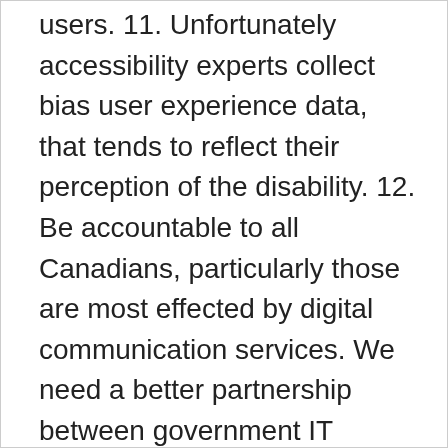users. 11. Unfortunately accessibility experts collect bias user experience data, that tends to reflect their perception of the disability. 12. Be accountable to all Canadians, particularly those are most effected by digital communication services. We need a better partnership between government IT decision makers and those that live with vision loss. 13. Create partnerships with grass root organizations that represent the various disability sectors, and not just with service organizations and health experts. 14. One of the biggest employment